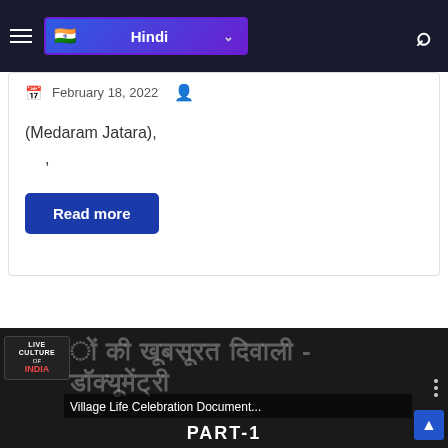Hindi
February 18, 2022
(Medaram Jatara),
,
Read more
← Previous
[Figure (screenshot): Video thumbnail for 'Village Life Celebration Document... PART-1' with Hindi text overlay and Live Culture of India badge]